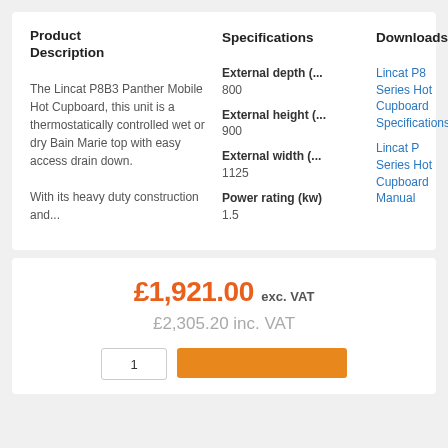Product Description
Specifications
Downloads
The Lincat P8B3 Panther Mobile Hot Cupboard, this unit is a thermostatically controlled wet or dry Bain Marie top with easy access drain down.
With its heavy duty construction and...
External depth (... 800
External height (... 900
External width (... 1125
Power rating (kw) 1.5
Lincat P8 Series Hot Cupboard Specifications
Lincat P Series Hot Cupboard Manual
£1,921.00 exc. VAT
£2,305.20 inc. VAT